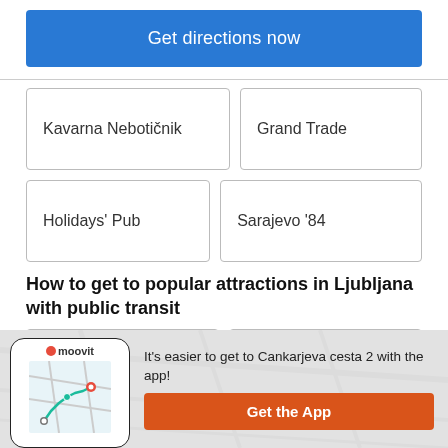Get directions now
Kavarna Nebotičnik
Grand Trade
Holidays' Pub
Sarajevo '84
How to get to popular attractions in Ljubljana with public transit
LPP postajališče Trata
BTC logistični center
It's easier to get to Cankarjeva cesta 2 with the app!
Get the App